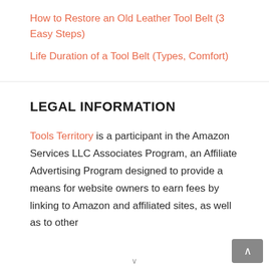How to Restore an Old Leather Tool Belt (3 Easy Steps)
Life Duration of a Tool Belt (Types, Comfort)
LEGAL INFORMATION
Tools Territory is a participant in the Amazon Services LLC Associates Program, an Affiliate Advertising Program designed to provide a means for website owners to earn fees by linking to Amazon and affiliated sites, as well as to other